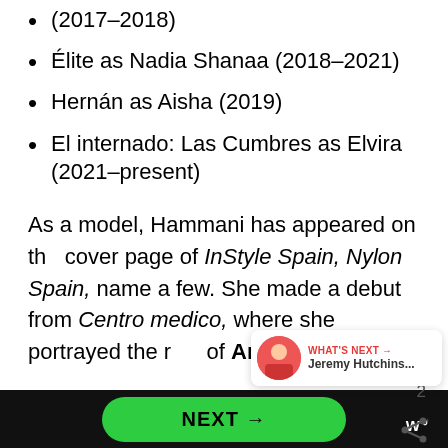(2017–2018)
Élite as Nadia Shanaa (2018–2021)
Hernán as Aisha (2019)
El internado: Las Cumbres as Elvira (2021–present)
As a model, Hammani has appeared on the cover page of InStyle Spain, Nylon Spain, name a few. She made a debut from Centro medico, where she portrayed the role of Amina.